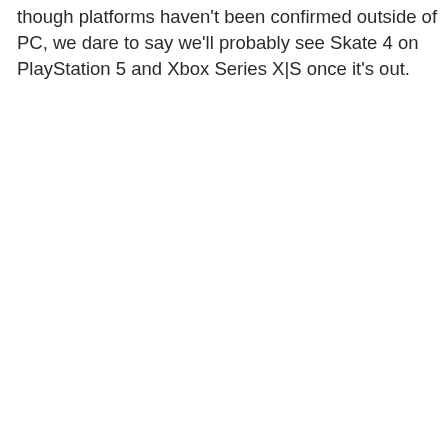Though platforms haven't been confirmed outside of PC, we dare to say we'll probably see Skate 4 on PlayStation 5 and Xbox Series X|S once it's out.